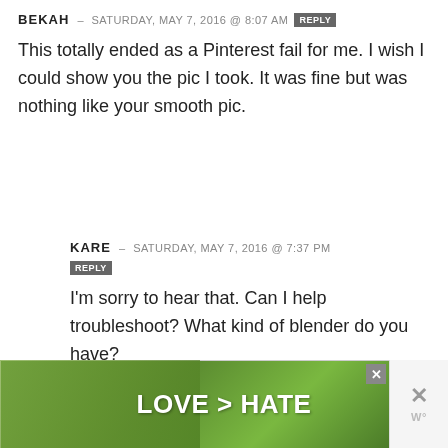BEKAH – SATURDAY, MAY 7, 2016 @ 8:07 AM  REPLY
This totally ended as a Pinterest fail for me. I wish I could show you the pic I took. It was fine but was nothing like your smooth pic.
KARE – SATURDAY, MAY 7, 2016 @ 7:37 PM  REPLY
I'm sorry to hear that. Can I help troubleshoot? What kind of blender do you have?
[Figure (photo): Advertisement banner showing hands forming a heart shape against a green background with text LOVE > HATE]